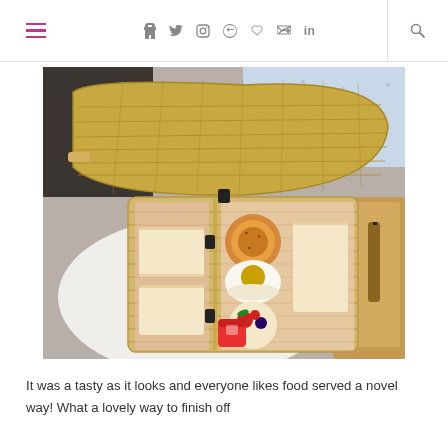≡ f t 📷 p ♥ ▶ in 🔍
[Figure (photo): An open wicker picnic hamper basket filled with sandwiches, pastries, cakes and treats displayed on a white table in a restaurant or cafe setting. The basket lid is propped open revealing the contents inside.]
It was a tasty as it looks and everyone likes food served a novel way! What a lovely way to finish off